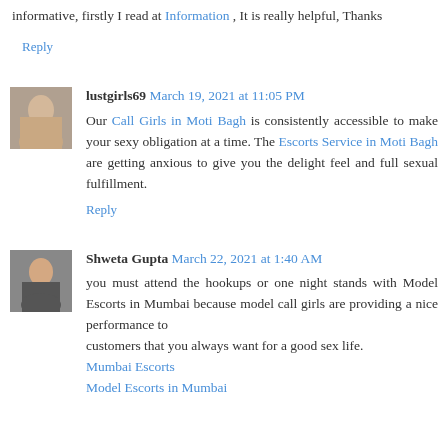informative, firstly I read at Information , It is really helpful, Thanks
Reply
lustgirls69  March 19, 2021 at 11:05 PM
Our Call Girls in Moti Bagh is consistently accessible to make your sexy obligation at a time. The Escorts Service in Moti Bagh are getting anxious to give you the delight feel and full sexual fulfillment.
Reply
Shweta Gupta  March 22, 2021 at 1:40 AM
you must attend the hookups or one night stands with Model Escorts in Mumbai because model call girls are providing a nice performance to customers that you always want for a good sex life. Mumbai Escorts Model Escorts in Mumbai